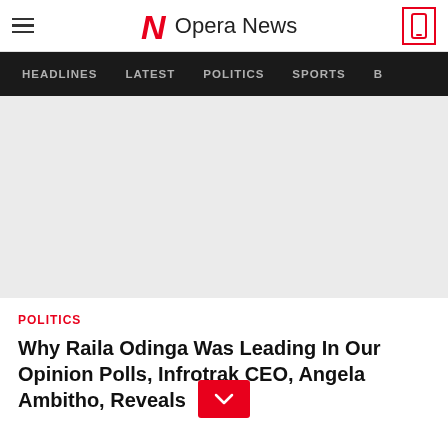Opera News
HEADLINES  LATEST  POLITICS  SPORTS
[Figure (photo): Light grey placeholder image area for article image]
POLITICS
Why Raila Odinga Was Leading In Our Opinion Polls, Infrotrak CEO, Angela Ambitho, Reveals